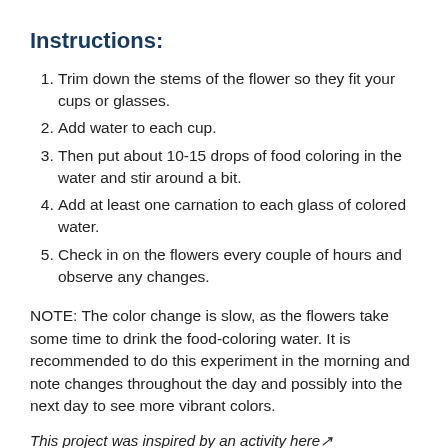Instructions:
Trim down the stems of the flower so they fit your cups or glasses.
Add water to each cup.
Then put about 10-15 drops of food coloring in the water and stir around a bit.
Add at least one carnation to each glass of colored water.
Check in on the flowers every couple of hours and observe any changes.
NOTE: The color change is slow, as the flowers take some time to drink the food-coloring water. It is recommended to do this experiment in the morning and note changes throughout the day and possibly into the next day to see more vibrant colors.
This project was inspired by an activity here↗